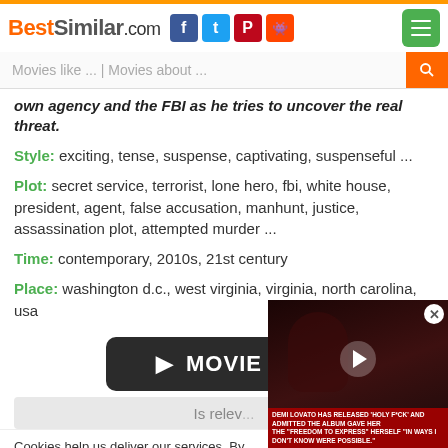BestSimilar.com
Movies like ... | Movies about ...
own agency and the FBI as he tries to uncover the real threat.
Style: exciting, tense, suspense, captivating, suspenseful ...
Plot: secret service, terrorist, lone hero, fbi, white house, president, agent, false accusation, manhunt, justice, assassination plot, attempted murder ...
Time: contemporary, 2010s, 21st century
Place: washington d.c., west virginia, virginia, north carolina, usa
[Figure (screenshot): Dark rounded button labeled MOVIE with play arrows]
Is relev...
Cookies help us deliver our services. By us... you agree to our use of cookies as describe...
[Figure (screenshot): Video overlay showing Demi Lovato news clip with red caption bar]